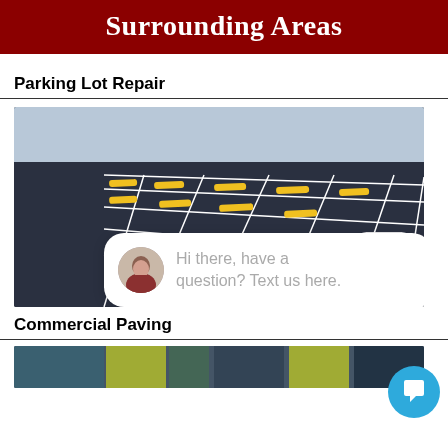Surrounding Areas
Parking Lot Repair
[Figure (photo): Freshly paved dark asphalt parking lot with white painted stall lines and yellow parking wheel stops, viewed at an angle.]
[Figure (screenshot): Website chat widget overlay showing a 'close' button and a chat bubble with an avatar of a woman and text: 'Hi there, have a question? Text us here.']
Commercial Paving
[Figure (photo): Partial view of construction workers in high-visibility vests working on a paving project.]